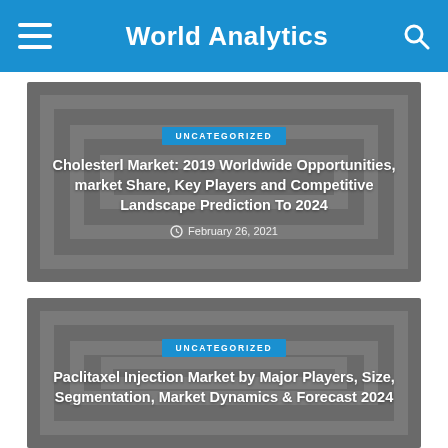World Analytics
UNCATEGORIZED
Cholesterl Market: 2019 Worldwide Opportunities, market Share, Key Players and Competitive Landscape Prediction To 2024
February 26, 2021
UNCATEGORIZED
Paclitaxel Injection Market by Major Players, Size, Segmentation, Market Dynamics & Forecast 2024